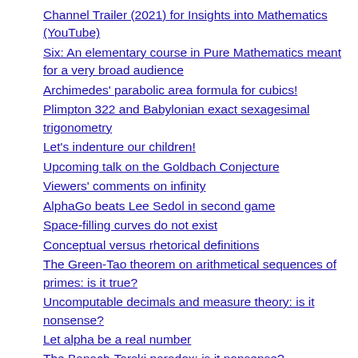Channel Trailer (2021) for Insights into Mathematics (YouTube)
Six: An elementary course in Pure Mathematics meant for a very broad audience
Archimedes' parabolic area formula for cubics!
Plimpton 322 and Babylonian exact sexagesimal trigonometry
Let's indenture our children!
Upcoming talk on the Goldbach Conjecture
Viewers' comments on infinity
AlphaGo beats Lee Sedol in second game
Space-filling curves do not exist
Conceptual versus rhetorical definitions
The Green-Tao theorem on arithmetical sequences of primes: is it true?
Uncomputable decimals and measure theory: is it nonsense?
Let alpha be a real number
The Banach-Tarski paradox: is it nonsense?
The Alexander Horned Sphere: is it nonsense?
A new logical principle
Infinity religion for pure mathematicians